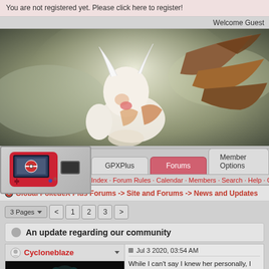You are not registered yet. Please click here to register!
Welcome Guest
[Figure (illustration): Banner image of a Pokemon (Lopunny/Mega Lopunny) with glowing light effects on a green-grey background]
GPXPlus · Forums · Member Options
Index · Forum Rules · Calendar · Members · Search · Help · Online List · Moderation
Global PokédeX Plus Forums -> Site and Forums -> News and Updates
3 Pages < 1 2 3 >
An update regarding our community
Cycloneblaze
Jul 3 2020, 03:54 AM
[Figure (illustration): Dark colored Pokemon avatar image thumbnail]
While I can't say I knew her personally, I have known a decade. I was happy to have helped her out by mak